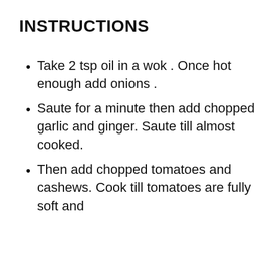INSTRUCTIONS
Take 2 tsp oil in a wok . Once hot enough add onions .
Saute for a minute then add chopped garlic and ginger. Saute till almost cooked.
Then add chopped tomatoes and cashews. Cook till tomatoes are fully soft and